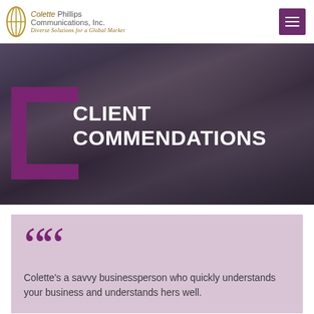Colette Phillips Communications, Inc. — Diverse Solutions for a Global Market
[Figure (photo): Hero image showing a person writing with a pen on paper, darkened with a purple overlay, with a large open purple bracket graphic and bold white text reading CLIENT COMMENDATIONS]
CLIENT COMMENDATIONS
Colette's a savvy businessperson who quickly understands your business and understands hers well.